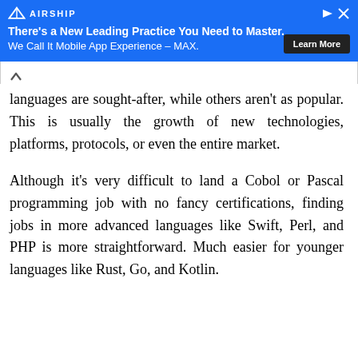[Figure (other): Airship advertisement banner with blue background. Logo and text: 'There's a New Leading Practice You Need to Master. We Call It Mobile App Experience – MAX.' with a Learn More button.]
languages are sought-after, while others aren't as popular. This is usually the growth of new technologies, platforms, protocols, or even the entire market.
Although it's very difficult to land a Cobol or Pascal programming job with no fancy certifications, finding jobs in more advanced languages like Swift, Perl, and PHP is more straightforward. Much easier for younger languages like Rust, Go, and Kotlin.